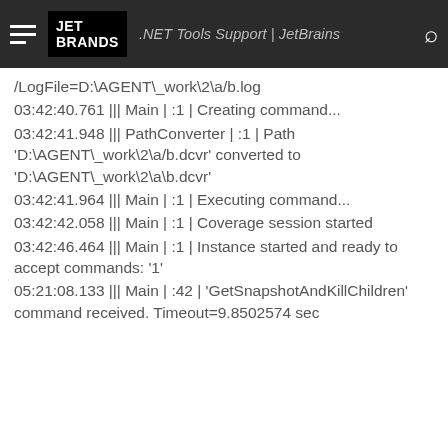.NET Tools Support | JetBrains
/LogFile=D:\AGENT\_work\2\a/b.log
03:42:40.761 ||| Main | :1 | Creating command...
03:42:41.948 ||| PathConverter | :1 | Path 'D:\AGENT\_work\2\a/b.dcvr' converted to 'D:\AGENT\_work\2\a\b.dcvr'
03:42:41.964 ||| Main | :1 | Executing command...
03:42:42.058 ||| Main | :1 | Coverage session started
03:42:46.464 ||| Main | :1 | Instance started and ready to accept commands: '1'
05:21:08.133 ||| Main | :42 | 'GetSnapshotAndKillChildren' command received. Timeout=9.8502574 sec